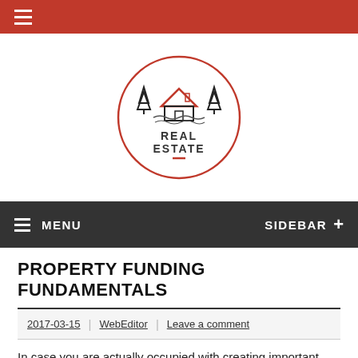≡ (hamburger menu, red bar)
[Figure (logo): Real Estate logo: circular red border with house and trees illustration, text REAL ESTATE below]
≡ MENU   SIDEBAR +
PROPERTY FUNDING FUNDAMENTALS
2017-03-15 | WebEditor | Leave a comment
In case you are actually occupied with creating important wealth, there is just one approach to do it